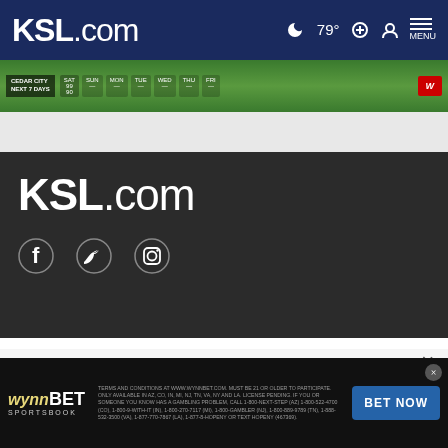KSL.com — navigation bar with logo, 79° temperature, search, account, and menu icons
[Figure (screenshot): Weather banner showing Cedar City 7-day forecast with day labels SAT, SUN, MON, TUE, WED, THU, FRI against a green landscape background, with a red logo at right]
[Figure (logo): KSL.com logo in white on dark grey background with Facebook, Twitter, and Instagram social media icons below]
Cookie Notice
We use cookies to improve your experience, analyze site traffic, and to personalize content and ads. By continuing to use our site, you consent to our use of cookies. Please visit our Terms of Use and Privacy Policy for more information
[Figure (screenshot): WynnBET Sportsbook advertisement banner at bottom with logo, fine print terms and conditions, and BET NOW button]